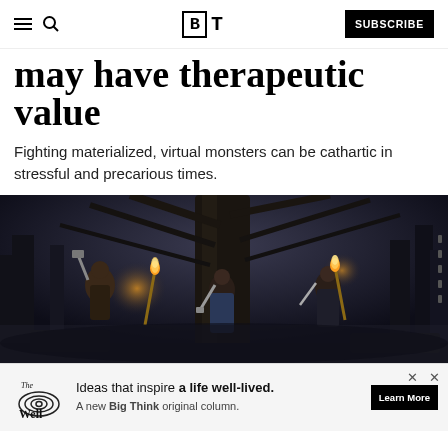BT — SUBSCRIBE
may have therapeutic value
Fighting materialized, virtual monsters can be cathartic in stressful and precarious times.
[Figure (photo): Dark, atmospheric video game screenshot showing characters in a forest at night, holding torches and weapons, facing each other around a large tree. The scene appears to be from a post-apocalyptic action game.]
Ideas that inspire a life well-lived. A new Big Think original column. Learn More